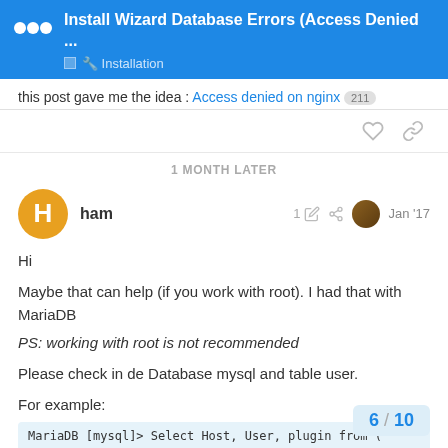Install Wizard Database Errors (Access Denied ...
this post gave me the idea : Access denied on nginx 211
1 MONTH LATER
ham  1  Jan '17
Hi

Maybe that can help (if you work with root). I had that with MariaDB
PS: working with root is not recommended

Please check in de Database mysql and table user.

For example:
MariaDB [mysql]> Select Host, User, plugin from (
6 / 10